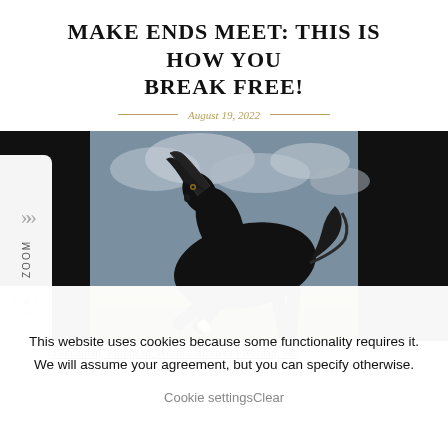MAKE ENDS MEET: THIS IS HOW YOU BREAK FREE!
August 19, 2022
[Figure (photo): A black Friesian horse rearing and galloping across a grassy field under a dramatic cloudy sky. The horse has a flowing mane and tail, captured mid-motion.]
Dear Dutchman, European, World Citizen or Freeman, We
This website uses cookies because some functionality requires it. We will assume your agreement, but you can specify otherwise.
Cookie settingsClear